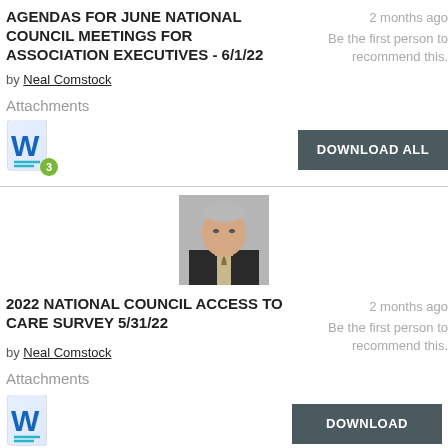AGENDAS FOR JUNE NATIONAL COUNCIL MEETINGS FOR ASSOCIATION EXECUTIVES - 6/1/22
by Neal Comstock
2 months ago
Be the first person to recommend this.
Attachments
[Figure (other): Word document icon with badge showing 3 attachments and DOWNLOAD ALL button]
[Figure (photo): Headshot photo of a man in a suit]
2022 NATIONAL COUNCIL ACCESS TO CARE SURVEY 5/31/22
by Neal Comstock
2 months ago
Be the first person to recommend this.
Attachments
[Figure (other): Word document icon and DOWNLOAD button]